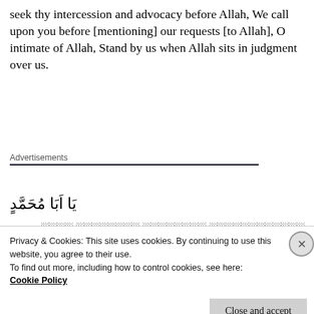seek thy intercession and advocacy before Allah, We call upon you before [mentioning] our requests [to Allah], O intimate of Allah, Stand by us when Allah sits in judgment over us.
Advertisements
يَا اَبَا مُحَمَّدٍ
Arabic body text (redacted/placeholder blocks)
Privacy & Cookies: This site uses cookies. By continuing to use this website, you agree to their use. To find out more, including how to control cookies, see here: Cookie Policy
Close and accept